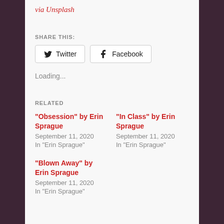via Unsplash
SHARE THIS:
Twitter  Facebook
Loading...
RELATED
"Obsession" by Erin Sprague
September 11, 2020
In "Erin Sprague"
"In Class" by Erin Sprague
September 11, 2020
In "Erin Sprague"
"Blown Away" by Erin Sprague
September 11, 2020
In "Erin Sprague"